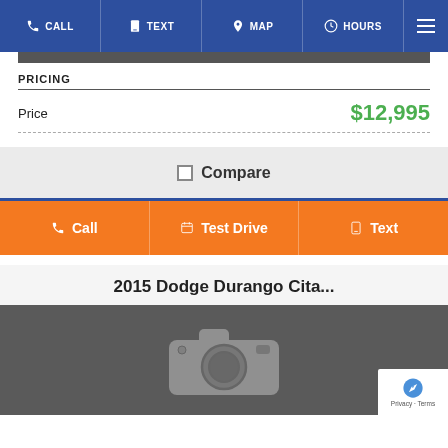CALL  TEXT  MAP  HOURS
PRICING
|  |  |
| --- | --- |
| Price | $12,995 |
Compare
Call  Test Drive  Text
2015 Dodge Durango Cita...
[Figure (photo): Car listing placeholder image with camera icon on dark gray background]